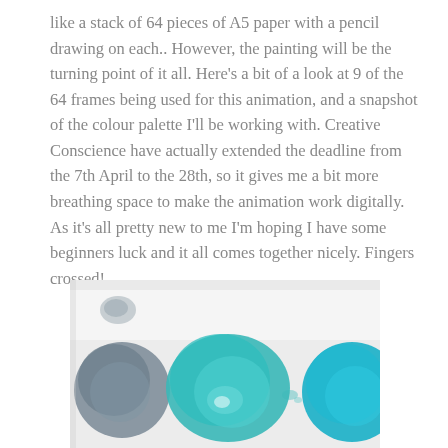like a stack of 64 pieces of A5 paper with a pencil drawing on each.. However, the painting will be the turning point of it all. Here's a bit of a look at 9 of the 64 frames being used for this animation, and a snapshot of the colour palette I'll be working with. Creative Conscience have actually extended the deadline from the 7th April to the 28th, so it gives me a bit more breathing space to make the animation work digitally. As it's all pretty new to me I'm hoping I have some beginners luck and it all comes together nicely. Fingers crossed!
[Figure (photo): A close-up photo of watercolour paint swatches on a white palette showing circular blobs of blue-grey, teal/cyan, and bright cyan/turquoise colours.]